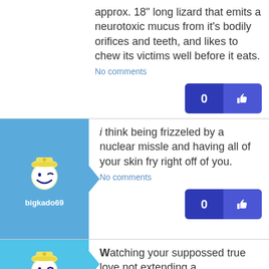approx. 18" long lizard that emits a neurotoxic mucus from it's bodily orifices and teeth, and likes to chew its victims well before it eats.
No comments
[Figure (illustration): Cartoon mascot avatar of bigkado69 - smiling winking face with hat, on blue background with arrow]
i think being frizzeled by a nuclear missle and having all of your skin fry right off of you.
No comments
[Figure (illustration): Cartoon mascot avatar on teal/light blue background with arrow pointing right]
Watching your suppossed true love not extending a